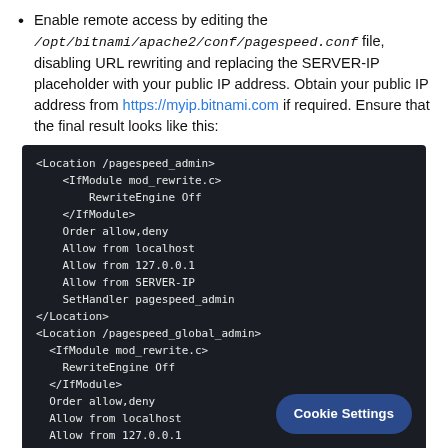Enable remote access by editing the /opt/bitnami/apache2/conf/pagespeed.conf file, disabling URL rewriting and replacing the SERVER-IP placeholder with your public IP address. Obtain your public IP address from https://myip.bitnami.com if required. Ensure that the final result looks like this:
[Figure (screenshot): Dark-themed code block showing Apache configuration for pagespeed_admin and pagespeed_global_admin locations with IfModule mod_rewrite.c, RewriteEngine Off, Order allow,deny, Allow from localhost, Allow from 127.0.0.1, Allow from SERVER-IP, SetHandler pagespeed_admin directives.]